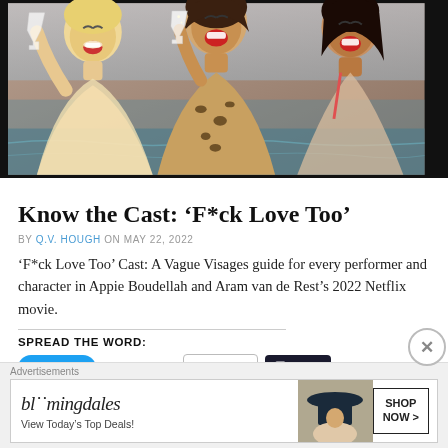[Figure (photo): Three women laughing and celebrating with champagne glasses outdoors, one in leopard print top]
Know the Cast: ‘F*ck Love Too’
BY Q.V. HOUGH ON MAY 22, 2022
‘F*ck Love Too’ Cast: A Vague Visages guide for every performer and character in Appie Boudellah and Aram van de Rest’s 2022 Netflix movie.
SPREAD THE WORD:
Tweet | Email | Post | Share | WhatsApp
[Figure (screenshot): Advertisement banner: Bloomingdale's - View Today’s Top Deals! SHOP NOW >]